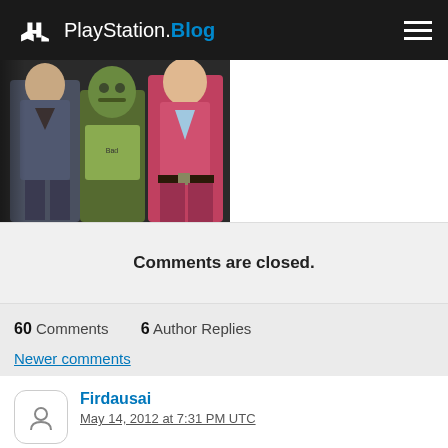PlayStation.Blog
[Figure (photo): Screenshot of a video game showing three characters: a man in a grey suit, a green zombie-like creature, and a man in a red/magenta jacket]
Comments are closed.
60 Comments   6 Author Replies
Newer comments
Firdausai
May 14, 2012 at 7:31 PM UTC